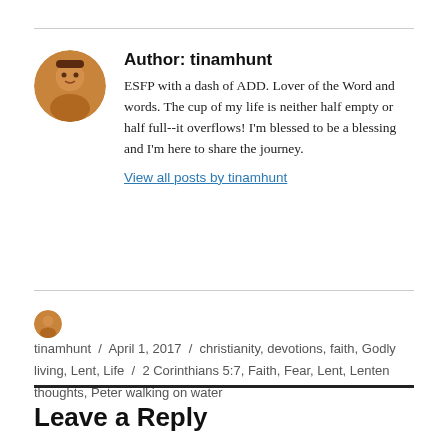Author: tinamhunt
ESFP with a dash of ADD. Lover of the Word and words. The cup of my life is neither half empty or half full--it overflows! I'm blessed to be a blessing and I'm here to share the journey.
View all posts by tinamhunt
tinamhunt / April 1, 2017 / christianity, devotions, faith, Godly living, Lent, Life / 2 Corinthians 5:7, Faith, Fear, Lent, Lenten thoughts, Peter walking on water
Leave a Reply